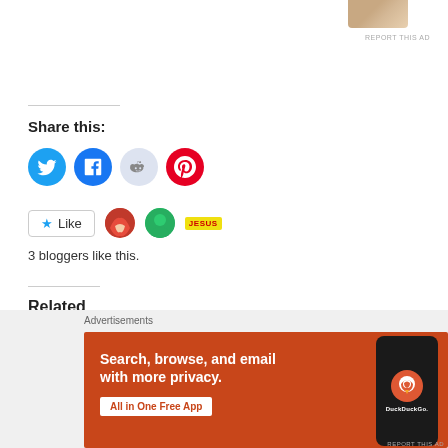REPORT THIS AD
Share this:
[Figure (infographic): Social sharing icons: Twitter (blue bird), Facebook (blue f), Reddit (light blue alien), Pinterest (red P)]
3 bloggers like this.
Related
[Figure (infographic): DuckDuckGo advertisement banner: orange/red background with white text 'Search, browse, and email with more privacy. All in One Free App' and a phone mockup showing DuckDuckGo logo]
Advertisements
REPORT THIS AD